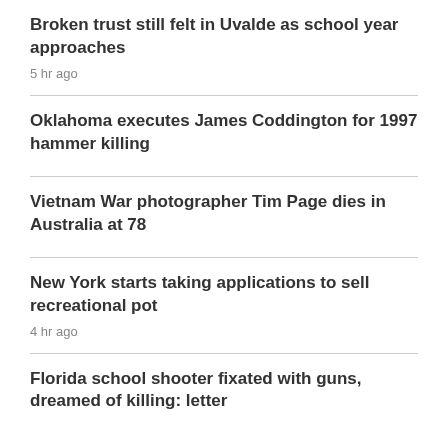Broken trust still felt in Uvalde as school year approaches
5 hr ago
Oklahoma executes James Coddington for 1997 hammer killing
Vietnam War photographer Tim Page dies in Australia at 78
New York starts taking applications to sell recreational pot
4 hr ago
Florida school shooter fixated with guns, dreamed of killing: letter